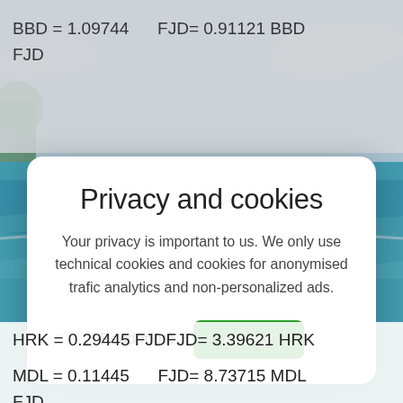BBD = 1.09744     FJD= 0.91121 BBD FJD
[Figure (screenshot): Privacy and cookies modal dialog overlay on a beach/ocean background. Title: 'Privacy and cookies'. Body text: 'Your privacy is important to us. We only use technical cookies and cookies for anonymised trafic analytics and non-personalized ads.' Two buttons: 'Read more' (plain text) and 'Accept' (green button).]
HRK = 0.29445 FJDFJD= 3.39621 HRK
MDL = 0.11445     FJD= 8.73715 MDL FJD